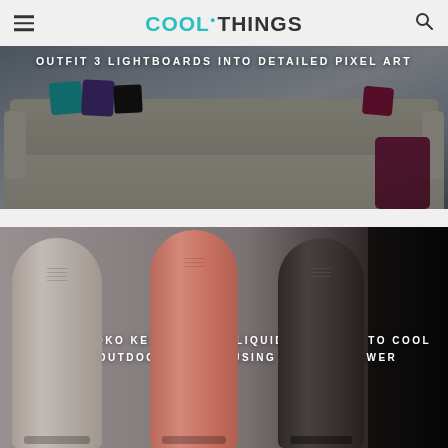COOLTHINGS
[Figure (photo): A gray sectional sofa with colorful pillows (teal, purple, black, dark red) and a dark red blanket draped over the armrest. The image has a dark overlay with white uppercase text.]
OUTFIT 3 LIGHTBOARDS INTO DETAILED PIXEL ART
[Figure (photo): Three tall cylindrical tower cooler units in different colors: beige/taupe, rose gold/copper, and dark charcoal/black, shown against a gray background. Text overlay on the image.]
GREEN KINOKO KENSHO USES LIQUID NITROGEN TO COOL DOWN OUTDOOR SPACES USING MINIMAL POWER